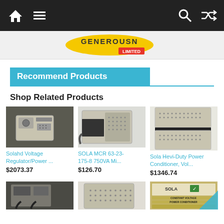Navigation bar with home, menu, search, and shuffle icons
[Figure (logo): Yellow elliptical logo with text partially visible, with 'LIMITED' red badge]
Recommend Products
Shop Related Products
[Figure (photo): Solahd voltage regulator/power supply unit, beige metal box on dark surface]
Solahd Voltage Regulator/Power ...
$2073.37
[Figure (photo): SOLA MCR 63-23-175-8 750VA power conditioner, beige metal unit with cable]
SOLA MCR 63-23-175-8 750VA Mi...
$126.70
[Figure (photo): Sola Hevi-Duty Power Conditioner, stacked beige metal units with ventilation holes]
Sola Hevi-Duty Power Conditioner, Vol...
$1346.74
[Figure (photo): Partial view of another power conditioner product, dark colored]
[Figure (photo): Partial view of a beige SOLA power conditioner unit]
[Figure (photo): Partial view of SOLA Constant Voltage Power Conditioner product label]